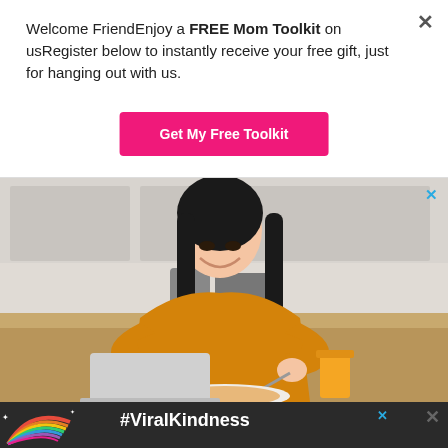Welcome FriendEnjoy a FREE Mom Toolkit on usRegister below to instantly receive your free gift, just for hanging out with us.
Get My Free Toolkit
[Figure (photo): Woman in yellow shirt smiling and eating breakfast at a kitchen table with a laptop and orange juice]
[Figure (infographic): Dark banner with rainbow illustration and #ViralKindness hashtag text]